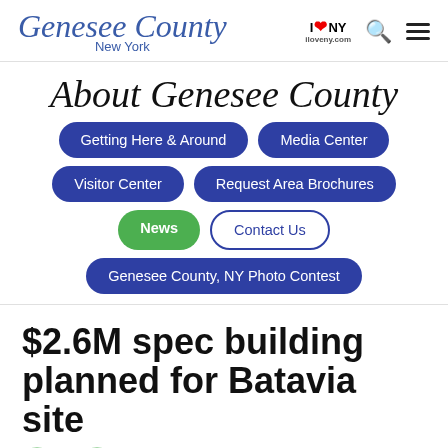Genesee County New York | I ❤ NY | iloveny.com
About Genesee County
Getting Here & Around
Media Center
Visitor Center
Request Area Brochures
News
Contact Us
Genesee County, NY Photo Contest
$2.6M spec building planned for Batavia site